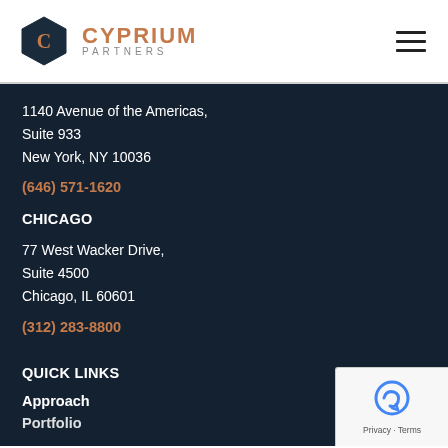CYPRIUM PARTNERS
1140 Avenue of the Americas,
Suite 933
New York, NY 10036
(646) 571-1620
CHICAGO
77 West Wacker Drive,
Suite 4500
Chicago, IL 60601
(312) 283-8800
QUICK LINKS
Approach
Portfolio